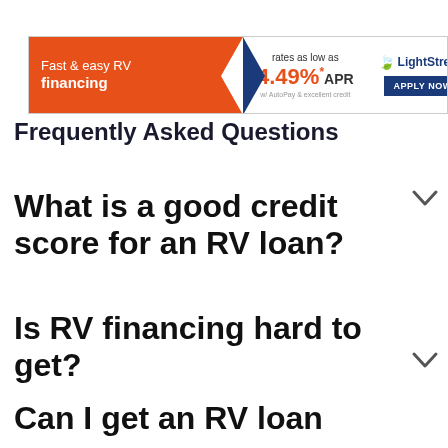[Figure (other): LightStream RV financing advertisement banner. Orange arrow shape on left reading 'Fast & easy RV financing'. Center shows rate '4.49%* APR rates as low as'. Right side shows LightStream logo and 'APPLY NOW' button in navy blue.]
Frequently Asked Questions
What is a good credit score for an RV loan?
Is RV financing hard to get?
Can I get an RV loan